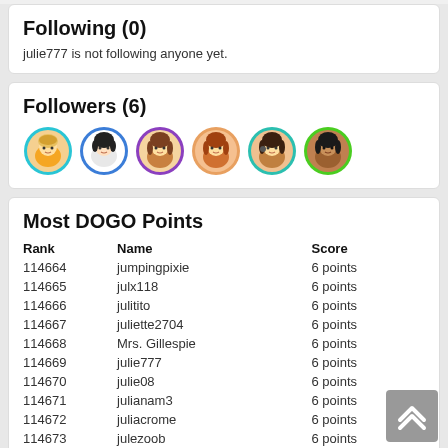Following (0)
julie777 is not following anyone yet.
Followers (6)
[Figure (illustration): Six circular avatar icons of female characters with various hair colors and border colors (cyan, blue, purple, peach, teal, green)]
Most DOGO Points
| Rank | Name | Score |
| --- | --- | --- |
| 114664 | jumpingpixie | 6 points |
| 114665 | julx118 | 6 points |
| 114666 | julitito | 6 points |
| 114667 | juliette2704 | 6 points |
| 114668 | Mrs. Gillespie | 6 points |
| 114669 | julie777 | 6 points |
| 114670 | julie08 | 6 points |
| 114671 | julianam3 | 6 points |
| 114672 | juliacrome | 6 points |
| 114673 | julezoob | 6 points |